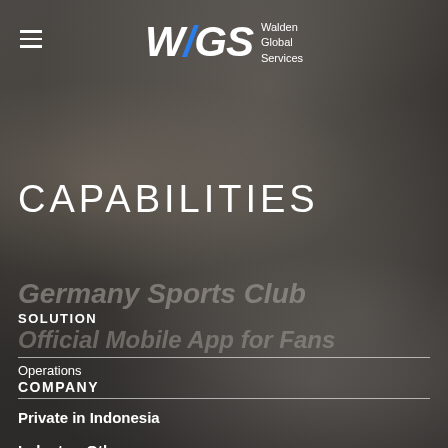[Figure (photo): Dark background photo of hands working with documents and a laptop keyboard, overlaid with dark semi-transparent tint]
WGS Walden Global Services
CAPABILITIES
Germany Sports Club
SOLUTION
Official Mobile App for Fans
Operations
COMPANY
Private in Indonesia
Industry:  Others